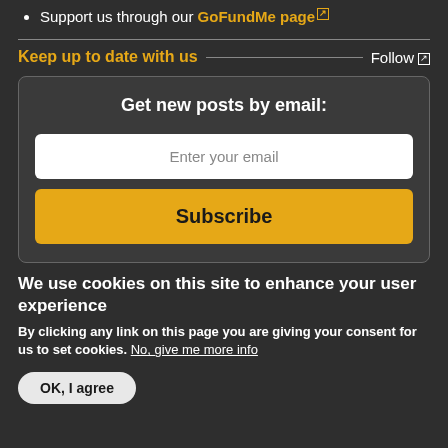Support us through our GoFundMe page
Keep up to date with us  Follow
[Figure (other): Email subscription box with 'Get new posts by email:' title, an email input field, and a Subscribe button]
We use cookies on this site to enhance your user experience
By clicking any link on this page you are giving your consent for us to set cookies. No, give me more info
OK, I agree